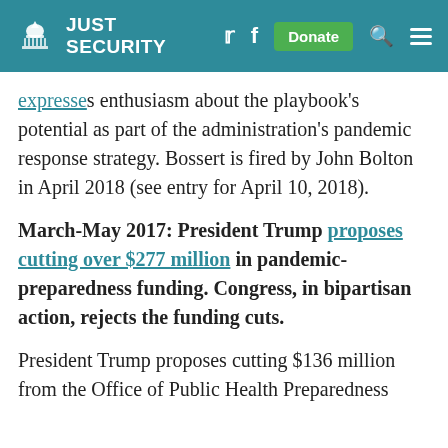JUST SECURITY
expresses enthusiasm about the playbook's potential as part of the administration's pandemic response strategy. Bossert is fired by John Bolton in April 2018 (see entry for April 10, 2018).
March-May 2017: President Trump proposes cutting over $277 million in pandemic-preparedness funding. Congress, in bipartisan action, rejects the funding cuts.
President Trump proposes cutting $136 million from the Office of Public Health Preparedness